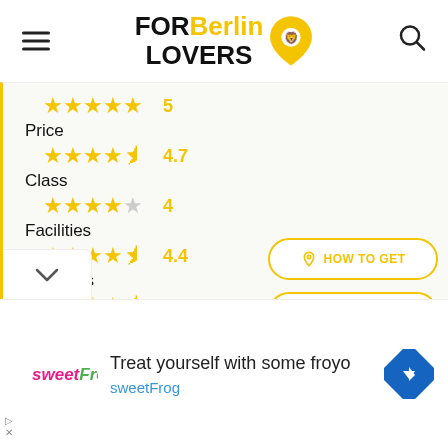FOR Berlin LOVERS
★★★★★ 5
Price ★★★★½ 4.7
Class ★★★★☆ 4
Facilities ★★★★½ 4.4
Teachers ★★★★½ 4.7
[Figure (other): HOW TO GET button and TO CALL button with yellow outlines]
[Figure (other): Advertisement banner: sweetFrog logo, text 'Treat yourself with some froyo', 'sweetFrog', navigation arrow icon]